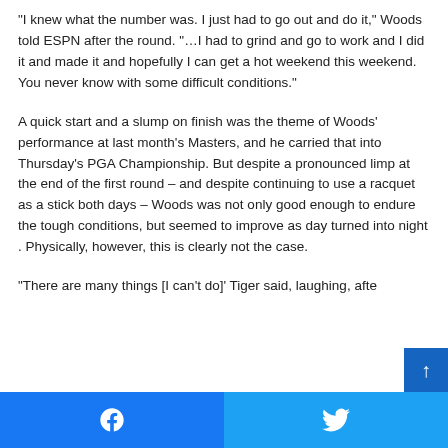“I knew what the number was. I just had to go out and do it,” Woods told ESPN after the round. “…I had to grind and go to work and I did it and made it and hopefully I can get a hot weekend this weekend. You never know with some difficult conditions.”
A quick start and a slump on finish was the theme of Woods’ performance at last month’s Masters, and he carried that into Thursday’s PGA Championship. But despite a pronounced limp at the end of the first round – and despite continuing to use a racquet as a stick both days – Woods was not only good enough to endure the tough conditions, but seemed to improve as day turned into night . Physically, however, this is clearly not the case.
“There are many things [I can’t do]’ Tiger said, laughing, afte
Facebook | Twitter